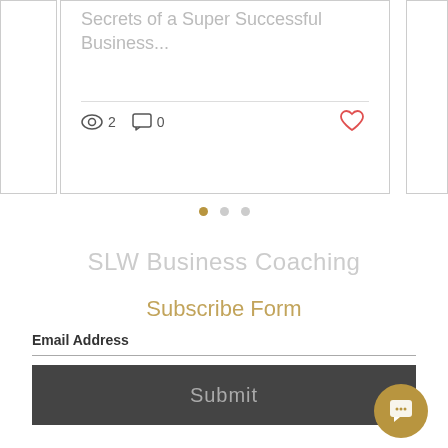Secrets of a Super Successful Business...
2 views · 0 comments · Like post
[Figure (infographic): Carousel pagination dots: one gold/active dot followed by two grey inactive dots]
SLW Business Coaching
Subscribe Form
Email Address
Submit